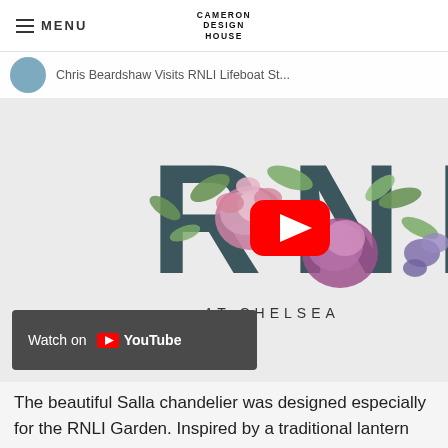MENU | CAMERON DESIGN HOUSE
[Figure (screenshot): YouTube embedded video showing RNLI at Chelsea garden event. Partial view shows RNLI letters decorated with flowers, AT CHELSEA text below, and a YouTube play button overlay. Channel bar shows avatar and 'Chris Beardshaw Visits RNLI Lifeboat St...' title. Watch on YouTube button at bottom.]
The beautiful Salla chandelier was designed especially for the RNLI Garden. Inspired by a traditional lantern with a twist of modern